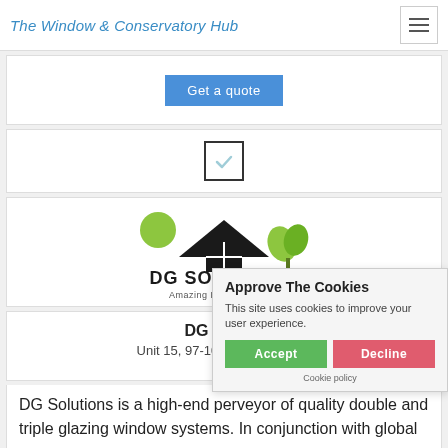The Window & Conservatory Hub
[Figure (screenshot): Get a quote button in blue]
[Figure (screenshot): Checkbox with checkmark icon]
[Figure (logo): DG Solutions logo with house icon, green leaves, and text 'DG SOLUTIONS Amazing Double Glazing']
DG Solutions
Unit 15, 97-101 Peregrine R
DG Solutions is a high-end perveyor of quality double and triple glazing window systems. In conjunction with global
[Figure (screenshot): Cookie consent popup: 'Approve The Cookies' with Accept and Decline buttons and Cookie policy link]